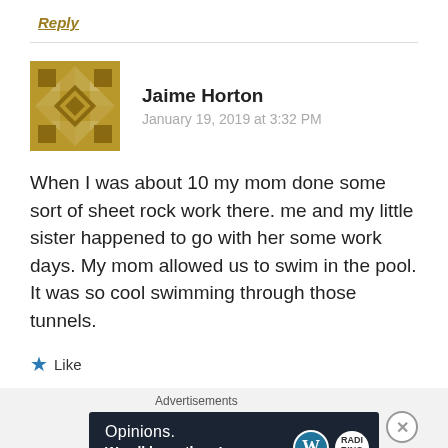Reply
[Figure (illustration): Gold geometric avatar icon for user Jaime Horton]
Jaime Horton
January 19, 2019 at 3:32 PM
When I was about 10 my mom done some sort of sheet rock work there. me and my little sister happened to go with her some work days. My mom allowed us to swim in the pool. It was so cool swimming through those tunnels.
Like
[Figure (infographic): WordPress advertisement banner: Opinions. We all have them! with WordPress and another logo]